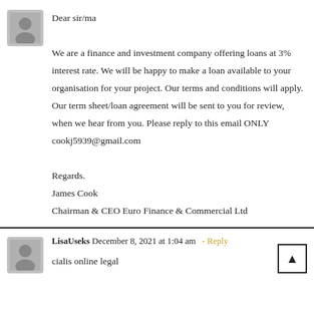Dear sir/ma

We are a finance and investment company offering loans at 3% interest rate. We will be happy to make a loan available to your organisation for your project. Our terms and conditions will apply. Our term sheet/loan agreement will be sent to you for review, when we hear from you. Please reply to this email ONLY cookj5939@gmail.com

Regards.
James Cook
Chairman & CEO Euro Finance & Commercial Ltd
LisaUseks December 8, 2021 at 1:04 am - Reply
cialis online legal